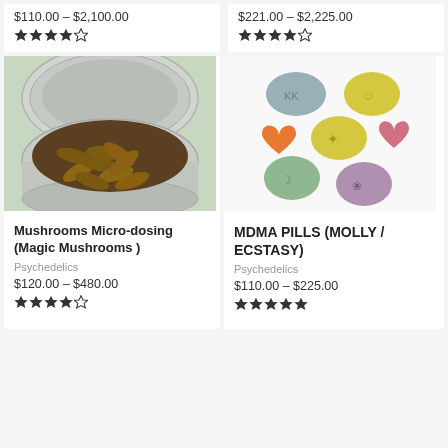$110.00 – $2,100.00
$221.00 – $2,225.00
[Figure (photo): Open silver tin can filled with brown herbal capsules/pills on a light green background]
Mushrooms Micro-dosing (Magic Mushrooms )
Psychedelics
$120.00 – $480.00
[Figure (photo): Colorful MDMA pills in various shapes: round pills in green, yellow, pink, purple and heart-shaped orange pill with embossed designs on white background]
MDMA PILLS (MOLLY / ECSTASY)
Psychedelics
$110.00 – $225.00